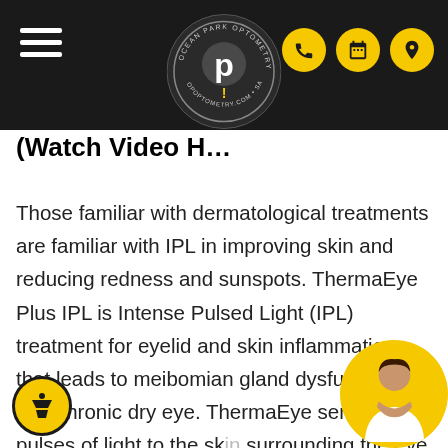Ocean Park Optometry — navigation header with logo, hamburger menu, and icon buttons
(Watch Video H…
Those familiar with dermatological treatments are familiar with IPL in improving skin and reducing redness and sunspots. ThermaEye Plus IPL is Intense Pulsed Light (IPL) treatment for eyelid and skin inflammation that leads to meibomian gland dysfunction and chronic dry eye. ThermaEye sends pulses of light to the skin surrounding the eye to constrict blood vessels and creates a soothing heat that liquefies